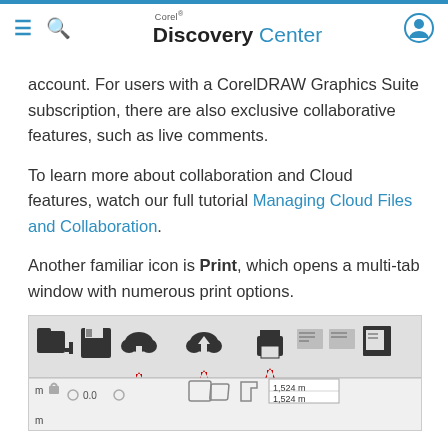Corel Discovery Center
account. For users with a CorelDRAW Graphics Suite subscription, there are also exclusive collaborative features, such as live comments.
To learn more about collaboration and Cloud features, watch our full tutorial Managing Cloud Files and Collaboration.
Another familiar icon is Print, which opens a multi-tab window with numerous print options.
[Figure (screenshot): A screenshot of the CorelDRAW toolbar showing cloud download, cloud upload, and print icons with red arrows pointing to them, and a status bar below with dimension values 1,524m x 1,524m.]